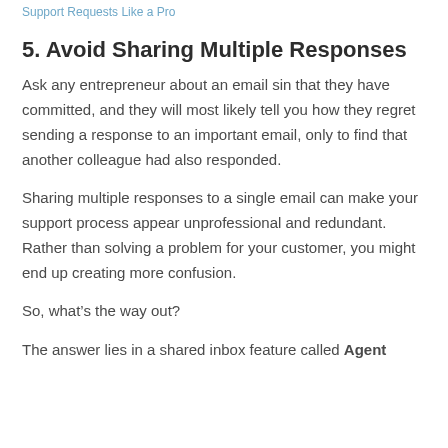Support Requests Like a Pro
5. Avoid Sharing Multiple Responses
Ask any entrepreneur about an email sin that they have committed, and they will most likely tell you how they regret sending a response to an important email, only to find that another colleague had also responded.
Sharing multiple responses to a single email can make your support process appear unprofessional and redundant. Rather than solving a problem for your customer, you might end up creating more confusion.
So, what’s the way out?
The answer lies in a shared inbox feature called Agent